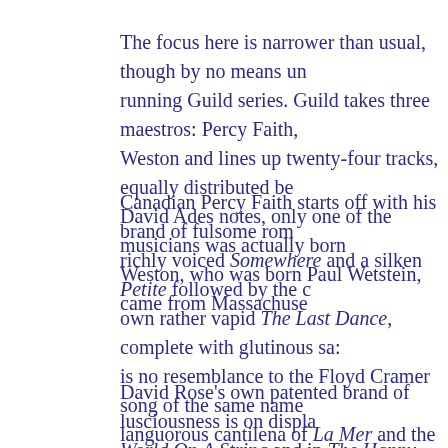The focus here is narrower than usual, though by no means un running Guild series. Guild takes three maestros: Percy Faith, Weston and lines up twenty-four tracks, equally distributed be David Ades notes, only one of the musicians was actually bor Weston, who was born Paul Wetstein, came from Massachuse
Canadian Percy Faith starts off with his brand of fulsome rom richly voiced Somewhere and a silken Petite followed by the c own rather vapid The Last Dance, complete with glutinous sa is no resemblance to the Floyd Cramer song of the same name languorous cantilena of La Mer and the Francophile theme is Oncle, the theme from the Tati film. The last Faith contributio downright swinger. Remember that if not everything here is to this Guild series is littered with his contributions.
David Rose's own patented brand of lusciousness is on displa World On A String and in The Happy Bow, his own song, he f toward a fugato. Now that would be unusual in the Light Mus remember many fugues in this series. Strings get a bluesy wor Lonesome On Main Street and then Ray Turner arrives to para concerto in The Mask Waltz. You'll know Ponderosa, as it's th